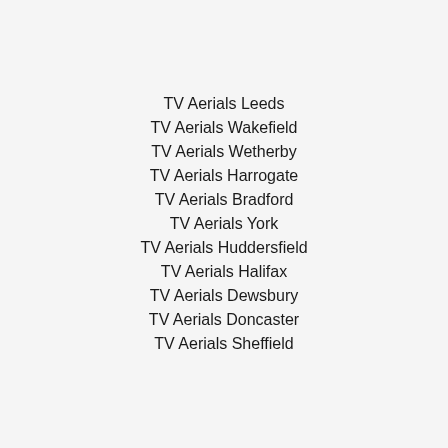TV Aerials Leeds
TV Aerials Wakefield
TV Aerials Wetherby
TV Aerials Harrogate
TV Aerials Bradford
TV Aerials York
TV Aerials Huddersfield
TV Aerials Halifax
TV Aerials Dewsbury
TV Aerials Doncaster
TV Aerials Sheffield